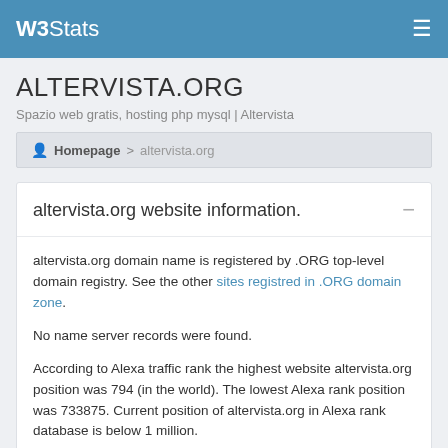W3Stats
ALTERVISTA.ORG
Spazio web gratis, hosting php mysql | Altervista
Homepage > altervista.org
altervista.org website information.
altervista.org domain name is registered by .ORG top-level domain registry. See the other sites registred in .ORG domain zone.
No name server records were found.
According to Alexa traffic rank the highest website altervista.org position was 794 (in the world). The lowest Alexa rank position was 733875. Current position of altervista.org in Alexa rank database is below 1 million.
Website altervista.org Desktop speed measurement score